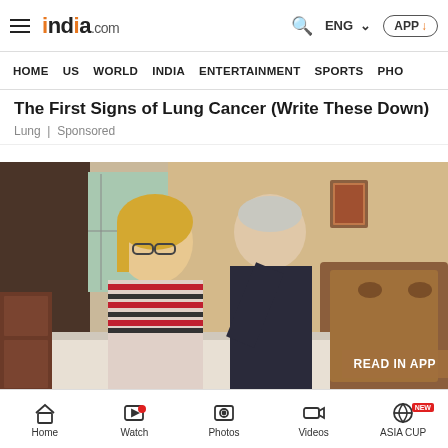india.com — ENG — APP
HOME   US   WORLD   INDIA   ENTERTAINMENT   SPORTS   PHO
The First Signs of Lung Cancer (Write These Down)
Lung | Sponsored
[Figure (photo): An older couple standing near a bed in a bedroom. A woman with blonde hair and glasses wearing a striped top, and a man in a dark polo shirt leaning forward. Wooden headboard visible on the right. A picture frame on the wall in the background.]
READ IN APP
Surgeon: Tinnitus? When The Ringing Won't Stop, Do This
AD Tinnitus Solution
Home   Watch   Photos   Videos   ASIA CUP